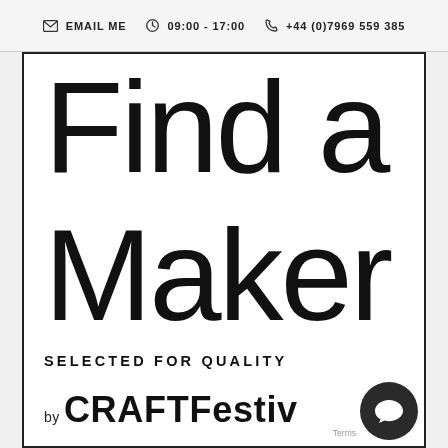EMAIL ME   09:00 - 17:00   +44 (0)7969 559 385
[Figure (logo): Find a Maker logo with tagline 'Selected for Quality' and 'by CRAFT Festival' text, enclosed in a rectangular border]
Find a Maker
SELECTED FOR QUALITY
by CRAFTFestival